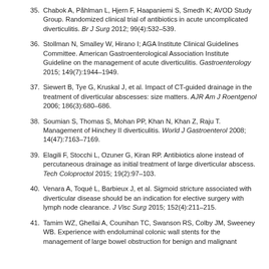35. Chabok A, Påhlman L, Hjern F, Haapaniemi S, Smedh K; AVOD Study Group. Randomized clinical trial of antibiotics in acute uncomplicated diverticulitis. Br J Surg 2012; 99(4):532–539.
36. Stollman N, Smalley W, Hirano I; AGA Institute Clinical Guidelines Committee. American Gastroenterological Association Institute Guideline on the management of acute diverticulitis. Gastroenterology 2015; 149(7):1944–1949.
37. Siewert B, Tye G, Kruskal J, et al. Impact of CT-guided drainage in the treatment of diverticular abscesses: size matters. AJR Am J Roentgenol 2006; 186(3):680–686.
38. Soumian S, Thomas S, Mohan PP, Khan N, Khan Z, Raju T. Management of Hinchey II diverticulitis. World J Gastroenterol 2008; 14(47):7163–7169.
39. Elagili F, Stocchi L, Ozuner G, Kiran RP. Antibiotics alone instead of percutaneous drainage as initial treatment of large diverticular abscess. Tech Coloproctol 2015; 19(2):97–103.
40. Venara A, Toqué L, Barbieux J, et al. Sigmoid stricture associated with diverticular disease should be an indication for elective surgery with lymph node clearance. J Visc Surg 2015; 152(4):211–215.
41. Tamim WZ, Ghellai A, Counihan TC, Swanson RS, Colby JM, Sweeney WB. Experience with endoluminal colonic wall stents for the management of large bowel obstruction for benign and malignant